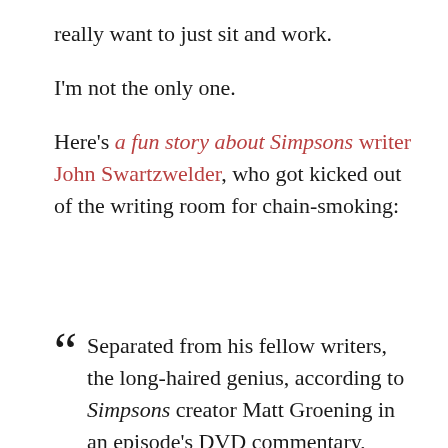really want to just sit and work.
I'm not the only one.
Here's a fun story about Simpsons writer John Swartzwelder, who got kicked out of the writing room for chain-smoking:
Separated from his fellow writers, the long-haired genius, according to Simpsons creator Matt Groening in an episode's DVD commentary, found a diner he liked, and would write from the same booth every day